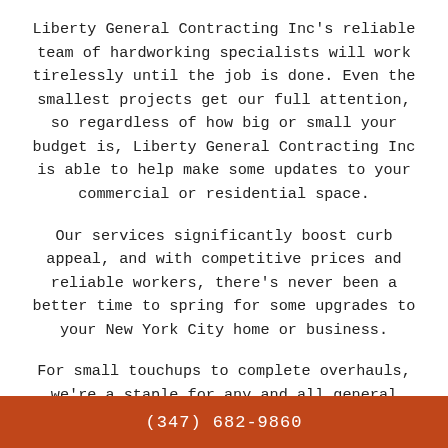Liberty General Contracting Inc's reliable team of hardworking specialists will work tirelessly until the job is done. Even the smallest projects get our full attention, so regardless of how big or small your budget is, Liberty General Contracting Inc is able to help make some updates to your commercial or residential space.
Our services significantly boost curb appeal, and with competitive prices and reliable workers, there's never been a better time to spring for some upgrades to your New York City home or business.
For small touchups to complete overhauls, we're a staple for any and all general contracting projects. To receive a free quote for our general contracting services, get in touch with Liberty General Contracting Inc today.
(347) 682-9860